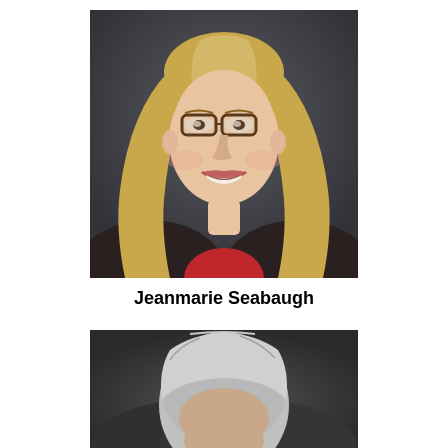[Figure (photo): Portrait photo of Jeanmarie Seabaugh, a middle-aged woman with long blonde hair, glasses, wearing a dark sparkly jacket and red top, smiling against a dark grey background.]
Jeanmarie Seabaugh
[Figure (photo): Partial portrait photo of another person with grey/white hair, seen from behind/top, against a dark grey background. Only top of head visible.]